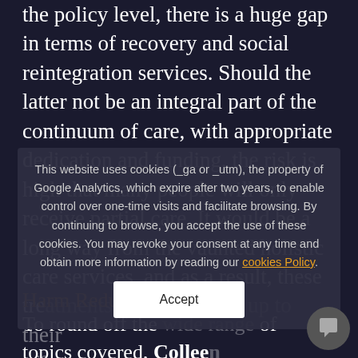the policy level, there is a huge gap in terms of recovery and social reintegration services. Should the latter not be an integral part of the continuum of care, with appropriate dedication and funding, the risk is high that many people will only receive partial care. It would be a long way from the vaunted holistic care services, and as a result, these treatments will never live up to their effectiveness.
Harm Reduction...
To round off the wide range of topics covered, Colleen Daniel, of Harm Reduction International, presented the huge gaps ...
This website uses cookies (_ga or _utm), the property of Google Analytics, which expire after two years, to enable control over one-time visits and facilitate browsing. By continuing to browse, you accept the use of these cookies. You may revoke your consent at any time and obtain more information by reading our cookies Policy.